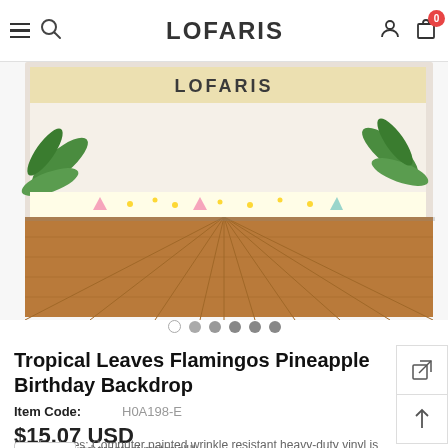LOFARIS
[Figure (photo): Product photo showing a tropical leaves flamingos pineapple birthday backdrop displayed against a wooden floor background. The backdrop features tropical green leaves, pineapples, and colorful confetti dots. Shown on the Lofaris website.]
Tropical Leaves Flamingos Pineapple Birthday Backdrop
Item Code: H0A198-E
$15.07 USD
Key Features: Computer painted wrinkle resistant heavy-duty vinyl is our nd greatest material!!!...
Size * 5X3FT(1.5X1M)